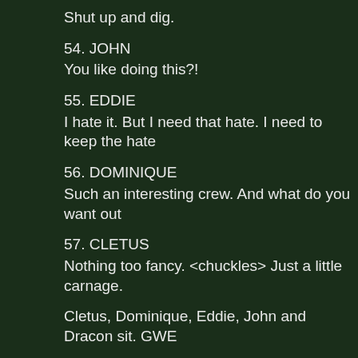Shut up and dig.
54. JOHN
You like doing this?!
55. EDDIE
I hate it. But I need that hate. I need to keep the hate
56. DOMINIQUE
Such an interesting crew. And what do you want out
57. CLETUS
Nothing too fancy. <chuckles> Just a little carnage.
Cletus, Dominique, Eddie, John and Dracon sit. GWE
58. NARRATOR
That afternoon, at Midtown High…
59. GWEN
Hey, Pete. How’d you do?
60. PETER
Ugh, horrible, probably. I mean you know English is h subjective and—